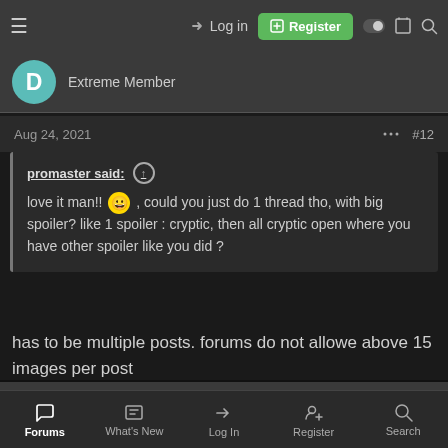Log in | Register
Extreme Member
Aug 24, 2021  #12
promaster said: ↑  love it man!! 😀 , could you just do 1 thread tho, with big spoiler? like 1 spoiler : cryptic, then all cryptic open where you have other spoiler like you did ?
has to be multiple posts. forums do not allowe above 15 images per post
promaster  Administrator
Forums  What's New  Log In  Register  Search